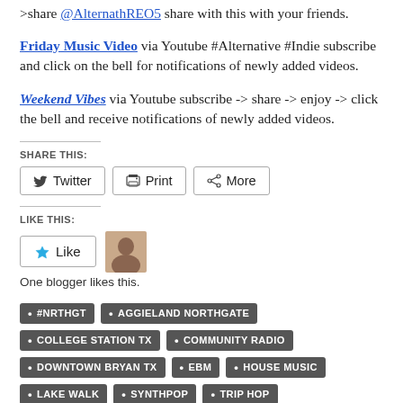>share @AlternathREO5 share with this with your friends.
Friday Music Video via Youtube #Alternative #Indie subscribe and click on the bell for notifications of newly added videos.
Weekend Vibes via Youtube subscribe -> share -> enjoy -> click the bell and receive notifications of newly added videos.
SHARE THIS:
Twitter  Print  More
LIKE THIS:
Like
One blogger likes this.
#NRTHGT
AGGIELAND NORTHGATE
COLLEGE STATION TX
COMMUNITY RADIO
DOWNTOWN BRYAN TX
EBM
HOUSE MUSIC
LAKE WALK
SYNTHPOP
TRIP HOP